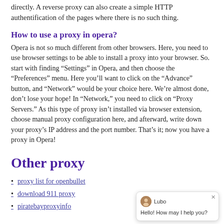directly. A reverse proxy can also create a simple HTTP authentification of the pages where there is no such thing.
How to use a proxy in opera?
Opera is not so much different from other browsers. Here, you need to use browser settings to be able to install a proxy into your browser. So. start with finding “Settings” in Opera, and then choose the “Preferences” menu. Here you’ll want to click on the “Advance” button, and “Network” would be your choice here. We’re almost done, don’t lose your hope! In “Network,” you need to click on “Proxy Servers.” As this type of proxy isn’t installed via browser extension, choose manual proxy configuration here, and afterward, write down your proxy’s IP address and the port number. That’s it; now you have a proxy in Opera!
Other proxy
proxy list for openbullet
download 911 proxy
piratebayproxyinfo
[Figure (other): Chat widget with avatar of Lubo and message 'Hello! How may I help you?']